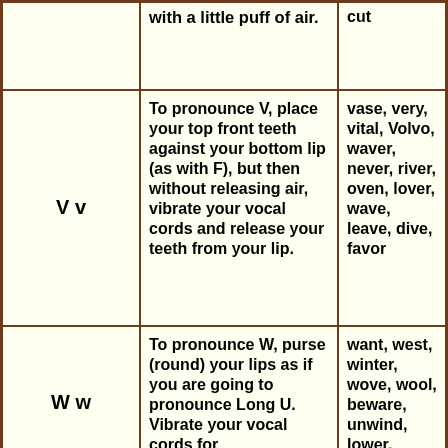| Letter | Pronunciation Instruction | Examples |
| --- | --- | --- |
|  | with a little puff of air. | cut |
| V v | To pronounce V, place your top front teeth against your bottom lip (as with F), but then without releasing air, vibrate your vocal cords and release your teeth from your lip. | vase, very, vital, Volvo, waver, never, river, oven, lover, wave, leave, dive, favor |
| W w | To pronounce W, purse (round) your lips as if you are going to pronounce Long U. Vibrate your vocal cords for ... | want, west, winter, wove, wool, beware, unwind, lower, tower |